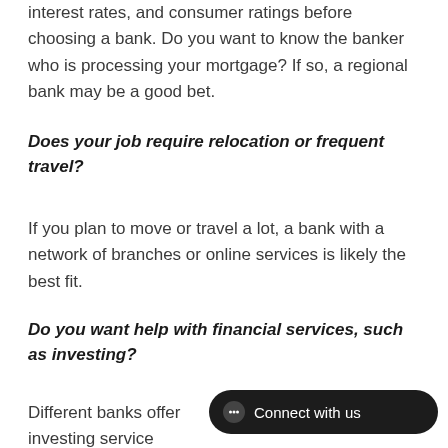interest rates, and consumer ratings before choosing a bank. Do you want to know the banker who is processing your mortgage? If so, a regional bank may be a good bet.
Does your job require relocation or frequent travel?
If you plan to move or travel a lot, a bank with a network of branches or online services is likely the best fit.
Do you want help with financial services, such as investing?
Different banks offer investing service options, including certificates of deposit, money market accounts, and stock investing. If you plan to invest now or in the future, re... available.